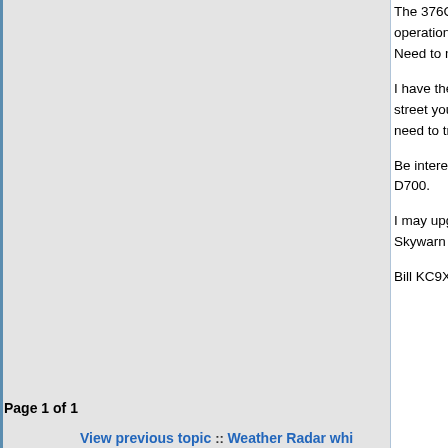The 376C display is about 3"by4" and easily readable. When operational, the XM receiver plugs into the USB port. Need to make up a cable. I am currently using a C
I have the 376C sitting on the dashboard, on a bean bag. It shows you the name of the street you are on, or the name of the street you are approaching. You don't need to try to read the map, just glance at the top
Be interesting to see how this setup works during D700.
I may upgrade the XM subscription (to $50/mo) to Skywarn events.
Bill KC9XG
Back to top
[Figure (other): Forum action buttons: profile, pm, www]
Display posts from previous: All Posts
[Figure (other): New topic and Post reply buttons]
Northern Illinois APRS Network Forum Index
Page 1 of 1
View previous topic :: Weather Radar whi